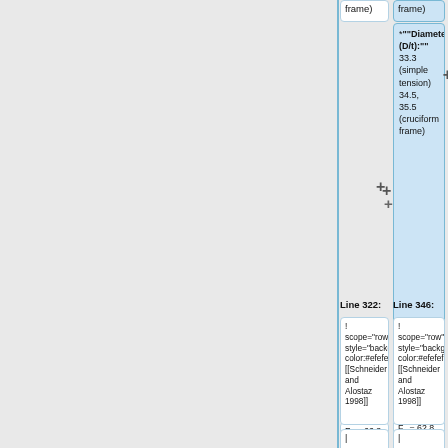frame)
*""Diameter/thickness (D/t):"" 33.3 (simple tension) 34.5, 35.5 (cruciform frame)
| Cold formed STKR400
| Cold formed STKR400
F<sub>y</sub> = 62.8 ksi
F<sub>y</sub> = 62.8 ksi
Line 322:
Line 346:
! scope="row" style="background-color:#efefef;"| [[Schneider and Alostaz 1998]]
! scope="row" style="background-color:#efefef;"| [[Schneider and Alostaz 1998]]
|
|